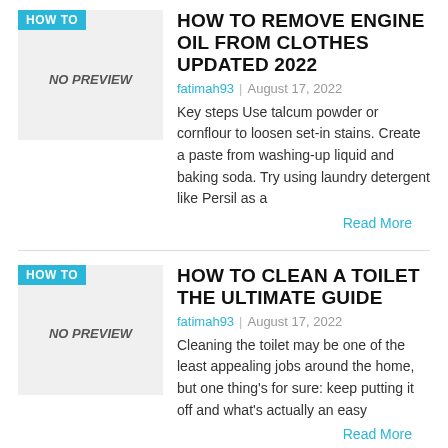[Figure (other): Thumbnail placeholder with HOW TO badge and NO PREVIEW text for engine oil article]
HOW TO REMOVE ENGINE OIL FROM CLOTHES UPDATED 2022
fatimah93 | August 17, 2022
Key steps Use talcum powder or cornflour to loosen set-in stains. Create a paste from washing-up liquid and baking soda. Try using laundry detergent like Persil as a
Read More
[Figure (other): Thumbnail placeholder with HOW TO badge and NO PREVIEW text for toilet cleaning article]
HOW TO CLEAN A TOILET THE ULTIMATE GUIDE
fatimah93 | August 17, 2022
Cleaning the toilet may be one of the least appealing jobs around the home, but one thing's for sure: keep putting it off and what's actually an easy
Read More